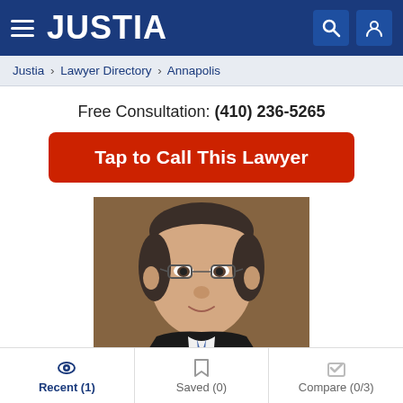JUSTIA
Justia > Lawyer Directory > Annapolis
Free Consultation: (410) 236-5265
Tap to Call This Lawyer
[Figure (photo): Professional headshot of a male lawyer wearing glasses and a dark suit with a tie, against a brown background]
Recent (1) | Saved (0) | Compare (0/3)